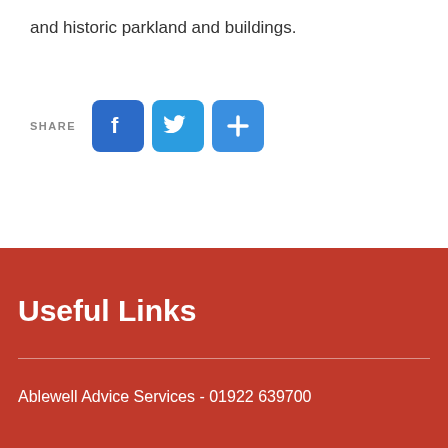and historic parkland and buildings.
[Figure (infographic): Social share buttons: SHARE label followed by Facebook (blue f icon), Twitter (blue bird icon), and a blue plus/share button]
Useful Links
Ablewell Advice Services - 01922 639700